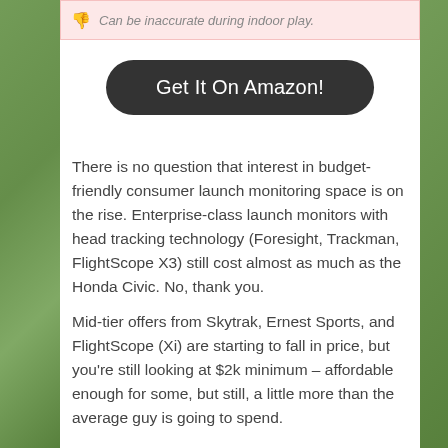Can be inaccurate during indoor play.
Get It On Amazon!
There is no question that interest in budget-friendly consumer launch monitoring space is on the rise. Enterprise-class launch monitors with head tracking technology (Foresight, Trackman, FlightScope X3) still cost almost as much as the Honda Civic. No, thank you.
Mid-tier offers from Skytrak, Ernest Sports, and FlightScope (Xi) are starting to fall in price, but you're still looking at $2k minimum – affordable enough for some, but still, a little more than the average guy is going to spend.